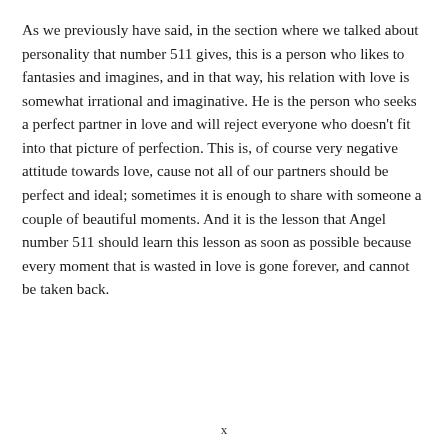As we previously have said, in the section where we talked about personality that number 511 gives, this is a person who likes to fantasies and imagines, and in that way, his relation with love is somewhat irrational and imaginative. He is the person who seeks a perfect partner in love and will reject everyone who doesn't fit into that picture of perfection. This is, of course very negative attitude towards love, cause not all of our partners should be perfect and ideal; sometimes it is enough to share with someone a couple of beautiful moments. And it is the lesson that Angel number 511 should learn this lesson as soon as possible because every moment that is wasted in love is gone forever, and cannot be taken back.
x